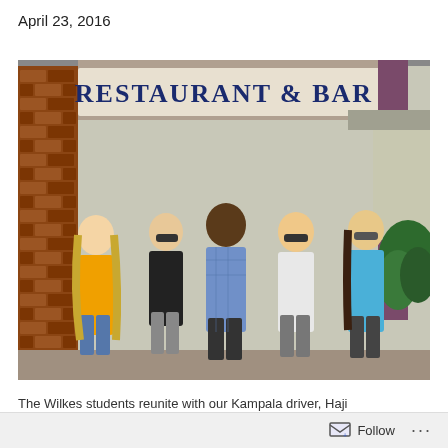April 23, 2016
[Figure (photo): Five people posing together in front of a building entrance with a sign reading 'RESTAURANT & BAR'. Four young women and one man in the center; one woman on left wearing a yellow t-shirt, one in a black tank top with sunglasses, the man in a blue checkered shirt, and two women on the right wearing sunglasses and casual clothing. Brick walls visible on left; trees and a building roof visible on right.]
The Wilkes students reunite with our Kampala driver, Haji
Follow